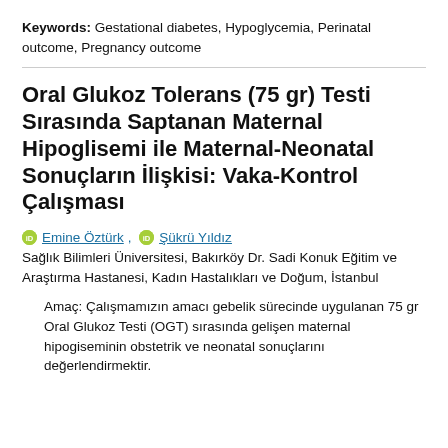Keywords: Gestational diabetes, Hypoglycemia, Perinatal outcome, Pregnancy outcome
Oral Glukoz Tolerans (75 gr) Testi Sırasında Saptanan Maternal Hipoglisemi ile Maternal-Neonatal Sonuçların İlişkisi: Vaka-Kontrol Çalışması
Emine Öztürk, Şükrü Yıldız
Sağlık Bilimleri Üniversitesi, Bakırköy Dr. Sadi Konuk Eğitim ve Araştırma Hastanesi, Kadın Hastalıkları ve Doğum, İstanbul
Amaç: Çalışmamızın amacı gebelik sürecinde uygulanan 75 gr Oral Glukoz Testi (OGT) sırasında gelişen maternal hipogiseminin obstetrik ve neonatal sonuçlarını değerlendirmektir.